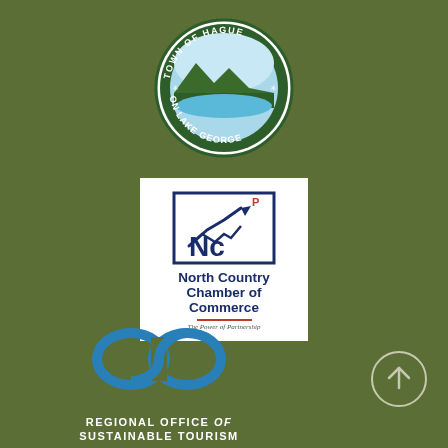[Figure (logo): Town of Hague on Lake George circular seal with lake and mountain scene]
[Figure (logo): North Country Chamber of Commerce logo with Nc icon and tagline 'The Power of Partnership']
[Figure (logo): Regional Office of Sustainable Tourism logo with infinity symbol in blue]
[Figure (other): Scroll-to-top button: circle with upward arrow on olive green background]